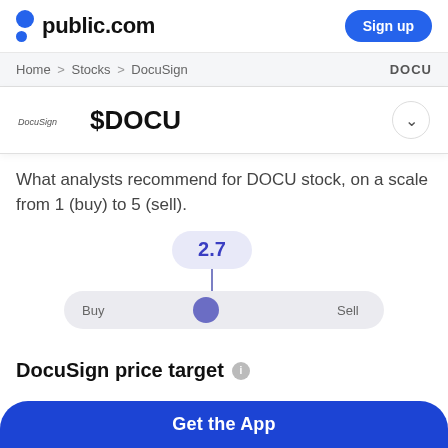public.com | Sign up
Home > Stocks > DocuSign   DOCU
$DOCU
What analysts recommend for DOCU stock, on a scale from 1 (buy) to 5 (sell).
[Figure (infographic): Analyst recommendation score gauge showing 2.7 on a scale from Buy (1) to Sell (5), with a pill-shaped bubble showing 2.7 above a horizontal slider track with a dot indicator positioned slightly left of center.]
DocuSign price target
Get the App